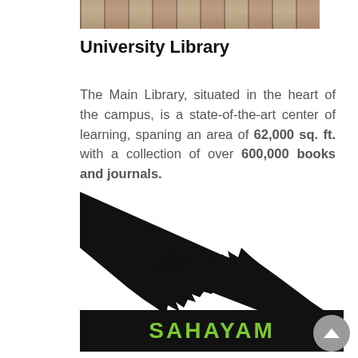[Figure (photo): Partial top photo showing stone steps or building exterior in brown/terracotta tones]
University Library
The Main Library, situated in the heart of the campus, is a state-of-the-art center of learning, spaning an area of 62,000 sq. ft. with a collection of over 600,000 books and journals.
[Figure (illustration): Silhouette illustration of two hands reaching toward each other (similar to Michelangelo's Creation of Adam), above a black banner reading SAHAYAM in green lettering]